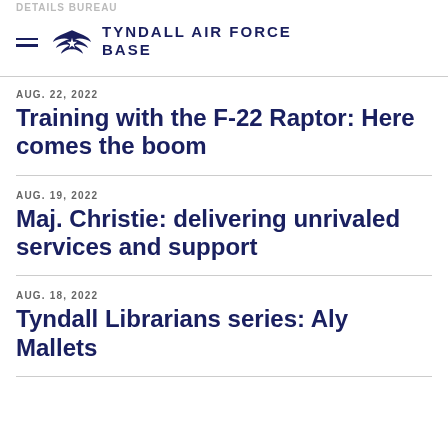TYNDALL AIR FORCE BASE
AUG. 22, 2022
Training with the F-22 Raptor: Here comes the boom
AUG. 19, 2022
Maj. Christie: delivering unrivaled services and support
AUG. 18, 2022
Tyndall Librarians series: Aly Mallets